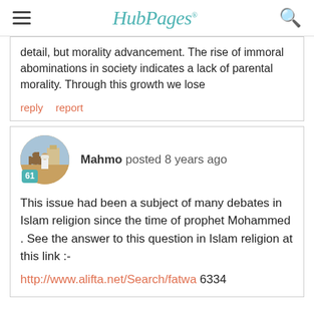HubPages
detail, but morality advancement. The rise of immoral abominations in society indicates a lack of parental morality. Through this growth we lose
reply   report
Mahmo posted 8 years ago
This issue had been a subject of many debates in Islam religion since the time of prophet Mohammed . See the answer to this question in Islam religion at this link :-
http://www.alifta.net/Search/fatwa 6334